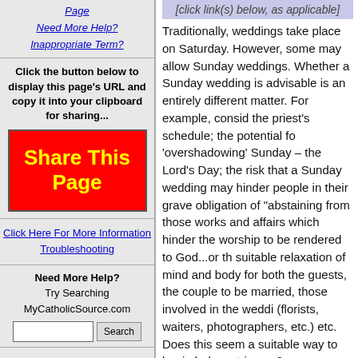Page
Need More Help?
Inappropriate Term?
Click the button below to display this page's URL and copy it into your clipboard for sharing...
Share This Page
Click Here For More Information
Troubleshooting
Need More Help?
Try Searching MyCatholicSource.com
[click link(s) below, as applicable]
Traditionally, weddings take place on Saturday. However, some may allow Sunday weddings. Whether a Sunday wedding is advisable is an entirely different matter. For example, consider the priest's schedule; the potential for 'overshadowing' Sunday – the Lord's Day; the risk that a Sunday wedding may hinder people in their grave obligation of "abstaining from those works and affairs which hinder the worship to be rendered to God...or the suitable relaxation of mind and body" for both the guests, the couple to be married, those involved in the wedding (florists, waiters, photographers, etc.). etc. Does this seem a suitable way to begin holy matrimony?
Perhaps the following might be helpful (click link to view)
* Information on the Sacrament of Matrimony